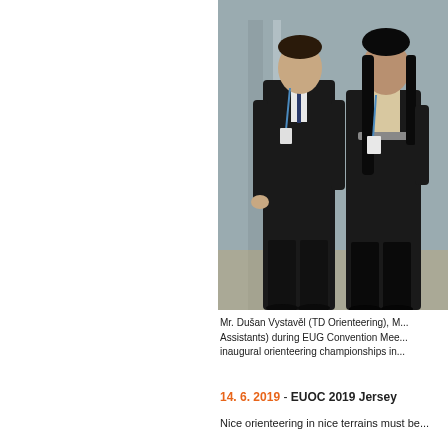[Figure (photo): Two people in formal business attire (a man in a dark suit with tie and a woman in a black outfit) standing together at what appears to be an indoor venue, possibly during the EUG Convention Meeting.]
Mr. Dušan Vystavěl (TD Orienteering), M... Assistants) during EUG Convention Mee... inaugural orienteering championships in...
14. 6. 2019 - EUOC 2019 Jersey
Nice orienteering in nice terrains must be...